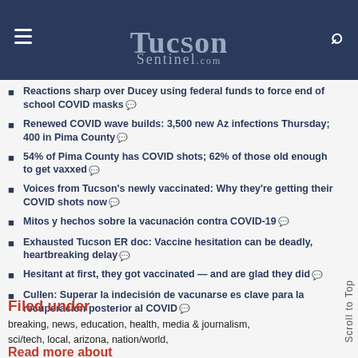TucsonSentinel.com
Reactions sharp over Ducey using federal funds to force end of school COVID masks
Renewed COVID wave builds: 3,500 new Az infections Thursday; 400 in Pima County
54% of Pima County has COVID shots; 62% of those old enough to get vaxxed
Voices from Tucson's newly vaccinated: Why they're getting their COVID shots now
Mitos y hechos sobre la vacunación contra COVID-19
Exhausted Tucson ER doc: Vaccine hesitation can be deadly, heartbreaking delay
Hesitant at first, they got vaccinated — and are glad they did
Cullen: Superar la indecisión de vacunarse es clave para la recuperación posterior al COVID
Filed under
breaking, news, education, health, media & journalism, sci/tech, local, arizona, nation/world,
Read more about